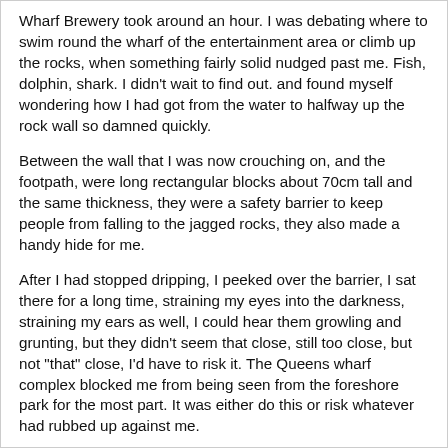Wharf Brewery took around an hour. I was debating where to swim round the wharf of the entertainment area or climb up the rocks, when something fairly solid nudged past me. Fish, dolphin, shark. I didn't wait to find out. and found myself wondering how I had got from the water to halfway up the rock wall so damned quickly.
Between the wall that I was now crouching on, and the footpath, were long rectangular blocks about 70cm tall and the same thickness, they were a safety barrier to keep people from falling to the jagged rocks, they also made a handy hide for me.
After I had stopped dripping, I peeked over the barrier, I sat there for a long time, straining my eyes into the darkness, straining my ears as well, I could hear them growling and grunting, but they didn't seem that close, still too close, but not "that" close, I'd have to risk it. The Queens wharf complex blocked me from being seen from the foreshore park for the most part. It was either do this or risk whatever had rubbed up against me.
Sidling up against the building I crept forward. as silently as I could, my nerves a jangling mess, every sound a reason to panic, but I kept control and I kept moving.